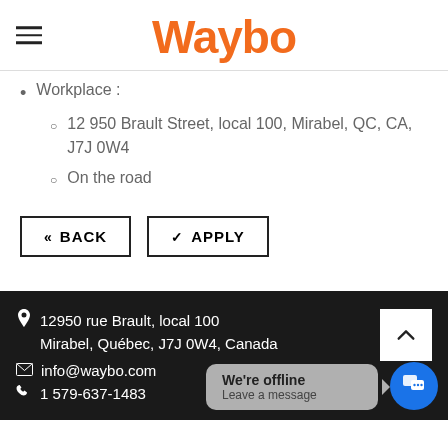Waybo
Workplace :
12 950 Brault Street, local 100, Mirabel, QC, CA, J7J 0W4
On the road
« BACK   ✓ APPLY
12950 rue Brault, local 100
Mirabel, Québec, J7J 0W4, Canada
info@waybo.com
1 579-637-1483
We're offline
Leave a message